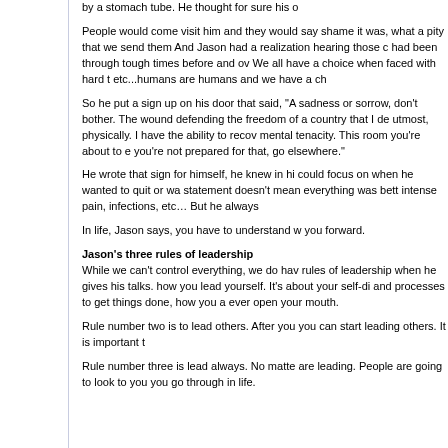by a stomach tube. He thought for sure his o
People would come visit him and they would say shame it was, what a pity that we send them And Jason had a realization hearing those c had been through tough times before and ov We all have a choice when faced with hard t etc...humans are humans and we have a ch
So he put a sign up on his door that said, "A sadness or sorrow, don't bother. The wound defending the freedom of a country that I de utmost, physically. I have the ability to recov mental tenacity. This room you're about to e you're not prepared for that, go elsewhere."
He wrote that sign for himself, he knew in hi could focus on when he wanted to quit or wa statement doesn't mean everything was bett intense pain, infections, etc… But he always
In life, Jason says, you have to understand w you forward.
Jason's three rules of leadership
While we can't control everything, we do hav rules of leadership when he gives his talks. how you lead yourself. It's about your self-di and processes to get things done, how you a ever open your mouth.
Rule number two is to lead others. After you you can start leading others. It is important t
Rule number three is lead always. No matte are leading. People are going to look to you you go through in life.